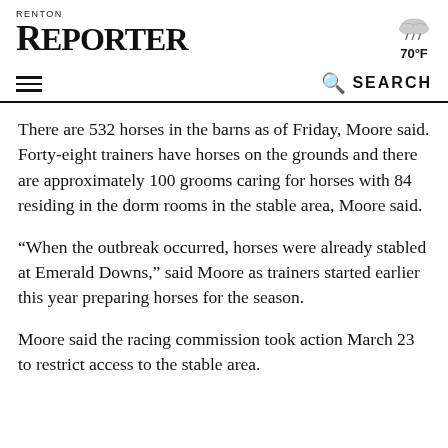RENTON REPORTER
[Figure (illustration): Rain cloud weather icon with rain drops]
70°F
There are 532 horses in the barns as of Friday, Moore said. Forty-eight trainers have horses on the grounds and there are approximately 100 grooms caring for horses with 84 residing in the dorm rooms in the stable area, Moore said.
“When the outbreak occurred, horses were already stabled at Emerald Downs,” said Moore as trainers started earlier this year preparing horses for the season.
Moore said the racing commission took action March 23 to restrict access to the stable area.